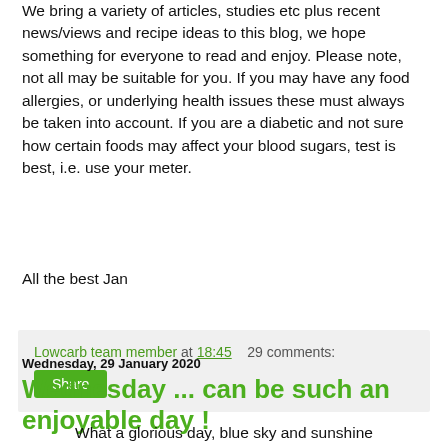We bring a variety of articles, studies etc plus recent news/views and recipe ideas to this blog, we hope something for everyone to read and enjoy. Please note, not all may be suitable for you. If you may have any food allergies, or underlying health issues these must always be taken into account. If you are a diabetic and not sure how certain foods may affect your blood sugars, test is best, i.e. use your meter.
All the best Jan
Lowcarb team member at 18:45   29 comments:
Share
Wednesday, 29 January 2020
Wednesday ... can be such an enjoyable day !
What a glorious day, blue sky and sunshine such a change from grey skies and lots of rain!